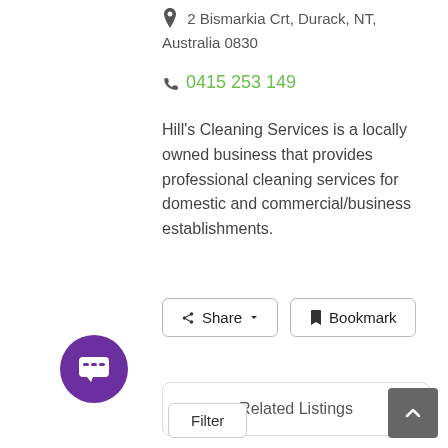2 Bismarkia Crt, Durack, NT, Australia 0830
0415 253 149
Hill's Cleaning Services is a locally owned business that provides professional cleaning services for domestic and commercial/business establishments.
Share
Bookmark
Related Listings
Nearby Listings
Filter